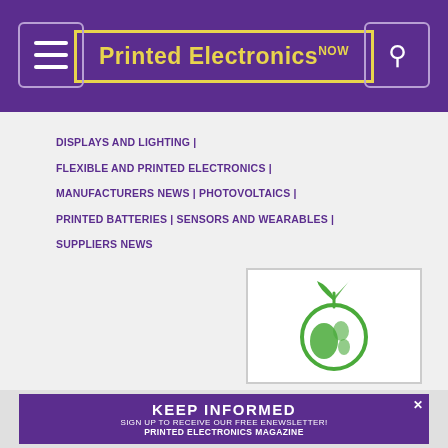Printed Electronics NOW
DISPLAYS AND LIGHTING | FLEXIBLE AND PRINTED ELECTRONICS | MANUFACTURERS NEWS | PHOTOVOLTAICS | PRINTED BATTERIES | SENSORS AND WEARABLES | SUPPLIERS NEWS
[Figure (logo): Green sustainability logo: a globe with a sprout/leaf on top, in green color on white background]
Sustainability and the Challenges Facing Flexible and Printed Electronics
Flexible and printed electronics have a good story to tell
KEEP INFORMED SIGN UP TO RECEIVE OUR FREE ENEWSLETTER! PRINTED ELECTRONICS MAGAZINE